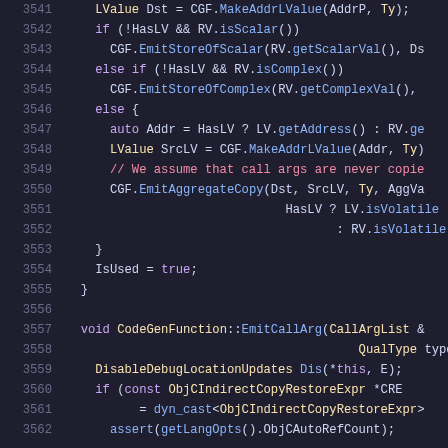[Figure (screenshot): Source code listing in a dark-themed code editor showing C++ code for CodeGenFunction::EmitCallArg, lines 3541-3562, with syntax highlighting in purple, blue, white, red, and yellow.]